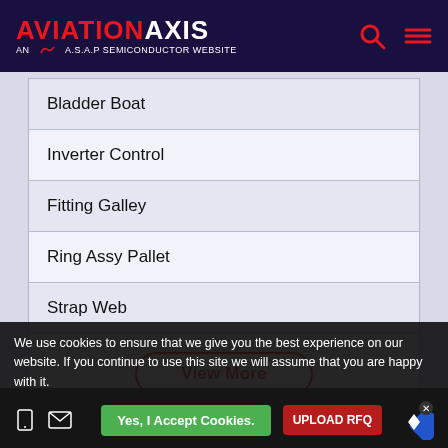AVIATION AXIS - AN A.S.A.P SEMICONDUCTOR WEBSITE
Bladder Boat
Inverter Control
Fitting Galley
Ring Assy Pallet
Strap Web
View More
We use cookies to ensure that we give you the best experience on our website. If you continue to use this site we will assume that you are happy with it.
Yes, I Accept Cookies.
UPLOAD RFQ